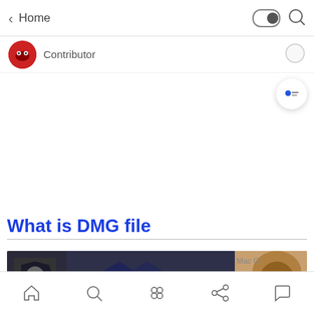Home
Contributor
What is DMG file
[Figure (screenshot): Article thumbnail image showing Mac OS X box, a large 'dmg?' text overlay in black, and a lion image on the right side]
Home navigation bar with icons: home, search, apps, share, chat